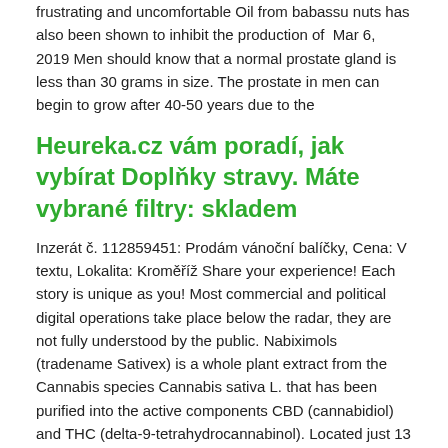frustrating and uncomfortable Oil from babassu nuts has also been shown to inhibit the production of  Mar 6, 2019 Men should know that a normal prostate gland is less than 30 grams in size. The prostate in men can begin to grow after 40-50 years due to the
Heureka.cz vám poradí, jak vybírat Doplňky stravy. Máte vybrané filtry: skladem
Inzerát č. 112859451: Prodám vánoční balíčky, Cena: V textu, Lokalita: Kroměříž Share your experience! Each story is unique as you! Most commercial and political digital operations take place below the radar, they are not fully understood by the public. Nabiximols (tradename Sativex) is a whole plant extract from the Cannabis species Cannabis sativa L. that has been purified into the active components CBD (cannabidiol) and THC (delta-9-tetrahydrocannabinol). Located just 13 km from